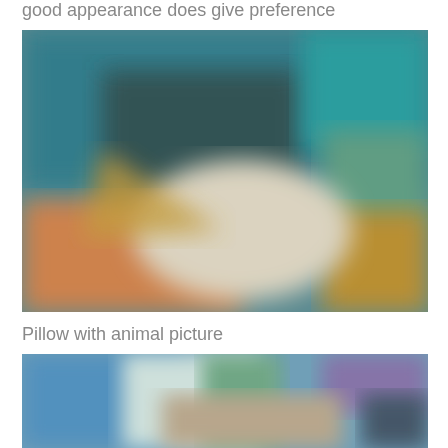good appearance does give preference
[Figure (photo): Blurred product photo showing items with teal/blue, orange, yellow, and white/beige colors — appears to be decorative pillows or cushions on a surface]
Pillow with animal picture
[Figure (photo): Blurred product photo showing items with blue, green, purple and beige/white colors — appears to be decorative pillows with animal print]